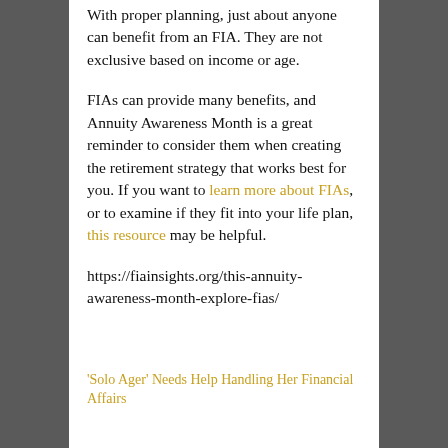With proper planning, just about anyone can benefit from an FIA. They are not exclusive based on income or age.
FIAs can provide many benefits, and Annuity Awareness Month is a great reminder to consider them when creating the retirement strategy that works best for you. If you want to learn more about FIAs, or to examine if they fit into your life plan, this resource may be helpful.
https://fiainsights.org/this-annuity-awareness-month-explore-fias/
'Solo Ager' Needs Help Handling Her Financial Affairs